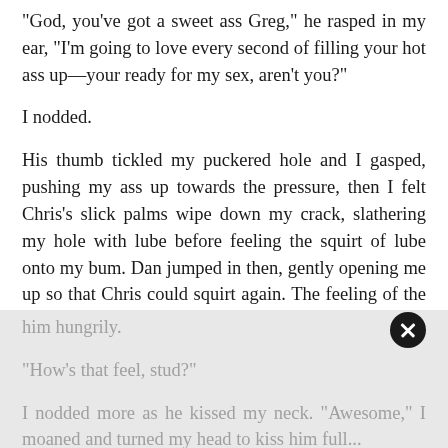“God, you’ve got a sweet ass Greg,” he rasped in my ear, “I’m going to love every second of filling your hot ass up—your ready for my sex, aren’t you?”
I nodded.
His thumb tickled my puckered hole and I gasped, pushing my ass up towards the pressure, then I felt Chris’s slick palms wipe down my crack, slathering my hole with lube before feeling the squirt of lube onto my bum. Dan jumped in then, gently opening me up so that Chris could squirt again. The feeling of the lube sliding into me was so fucking hot, and when Chris used his finger to work it inside me, I began to loosen up and enjoy the sensations pulsing into me. I moaned and bucked my hips up toward him hungrily.
“How’s that feel, stud?”
I nodded more as he kissed my neck. “Awesome,” I moaned and turned my head to kiss him fully...